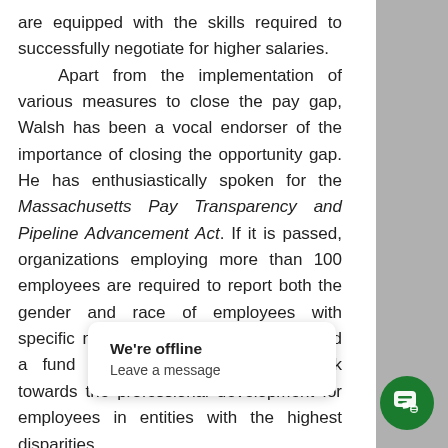are equipped with the skills required to successfully negotiate for higher salaries. Apart from the implementation of various measures to close the pay gap, Walsh has been a vocal endorser of the importance of closing the opportunity gap. He has enthusiastically spoken for the Massachusetts Pay Transparency and Pipeline Advancement Act. If it is passed, organizations employing more than 100 employees are required to report both the gender and race of employees with specific management titles publically, and a fund must be established to work towards the professional development for employees in entities with the highest disparities. How does th employers? It is possible that these are the
We're offline
Leave a message